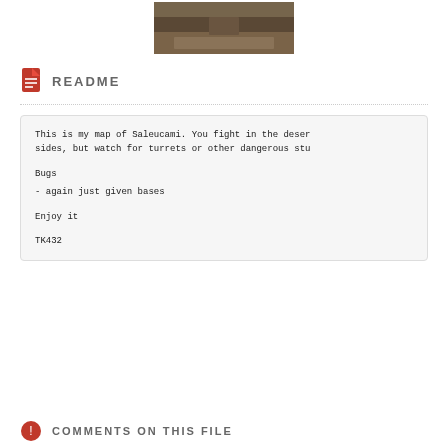[Figure (photo): Aerial photo of a desert map (Saleucami) showing a battlefield with vehicles and crowd]
README
This is my map of Saleucami. You fight in the deser sides, but watch for turrets or other dangerous stu

Bugs

- again just given bases

Enjoy it

TK432
COMMENTS ON THIS FILE